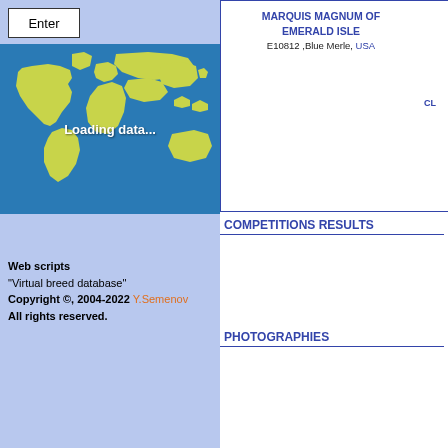Enter
[Figure (map): World map with blue ocean background and yellow-green continents, showing 'Loading data...' overlay text, with + and - zoom controls]
Web scripts
"Virtual breed database"
Copyright ©, 2004-2022 Y.Semenov
All rights reserved.
MARQUIS MAGNUM OF EMERALD ISLE
E10812 ,Blue Merle, USA
CL
COMPETITIONS RESULTS
PHOTOGRAPHIES